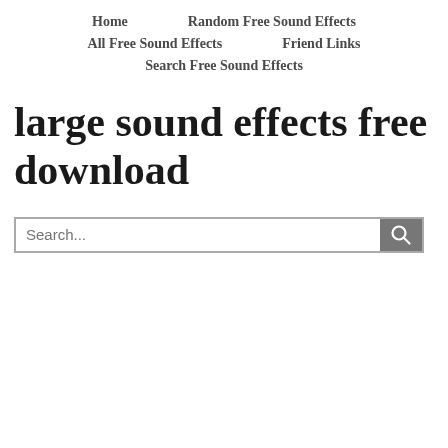Home    Random Free Sound Effects    All Free Sound Effects    Friend Links    Search Free Sound Effects
large sound effects free download
[Figure (other): Search bar with text input field showing placeholder 'Search...' and a grey search button with magnifying glass icon]